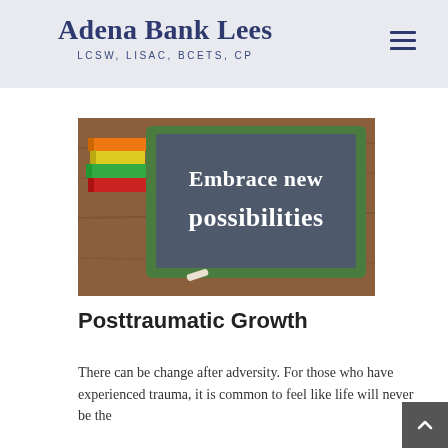Adena Bank Lees LCSW, LISAC, BCETS, CP
[Figure (photo): Chalkboard with text 'Embrace new possibilities' surrounded by colorful books on a wooden surface]
Posttraumatic Growth
There can be change after adversity. For those who have experienced trauma, it is common to feel like life will never be the